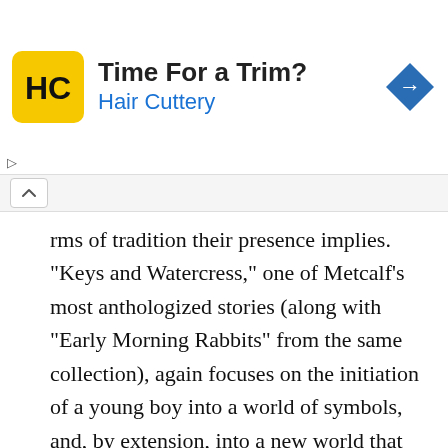[Figure (other): Advertisement banner for Hair Cuttery showing logo, text 'Time For a Trim? Hair Cuttery', and a blue diamond arrow icon]
rms of tradition their presence implies. "Keys and Watercress," one of Metcalf's most anthologized stories (along with "Early Morning Rabbits" from the same collection), again focuses on the initiation of a young boy into a world of symbols, and, by extension, into a new world that can be transformed through imagination. If the stories seem self-conscious it is because they are actually self-critical. Here, as in his later fiction, Metcalf uses the story to explore the value of storytelling itself.